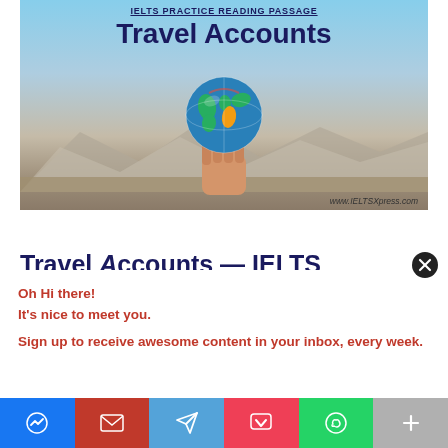[Figure (photo): IELTS Practice Reading Passage banner titled 'Travel Accounts' with a hand holding a globe against a mountain landscape background, with URL www.IELTSXpress.com]
Travel Accounts — IELTS (partial heading visible, cut off)
Oh Hi there!
It's nice to meet you.

Sign up to receive awesome content in your inbox, every week.
[Figure (infographic): Social sharing bar with icons for Messenger, Gmail, Telegram, Pocket, WhatsApp, and More (+)]